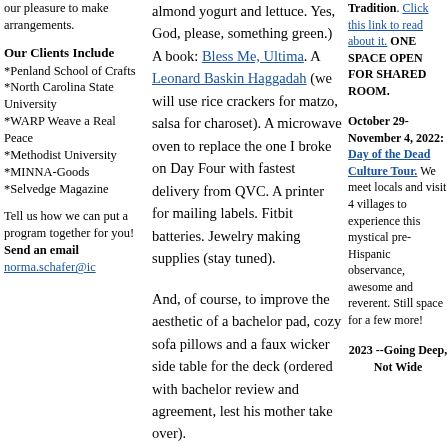our pleasure to make arrangements.
Our Clients Include
*Penland School of Crafts *North Carolina State University
*WARP Weave a Real Peace
*Methodist University
*MINNA-Goods
*Selvedge Magazine
Tell us how we can put a program together for you! Send an email norma.schafer@ic
almond yogurt and lettuce. Yes, God, please, something green.) A book: Bless Me, Ultima. A Leonard Baskin Haggadah (we will use rice crackers for matzo, salsa for charoset). A microwave oven to replace the one I broke on Day Four with fastest delivery from QVC. A printer for mailing labels. Fitbit batteries. Jewelry making supplies (stay tuned).
And, of course, to improve the aesthetic of a bachelor pad, cozy sofa pillows and a faux wicker side table for the deck (ordered with bachelor review and agreement, lest his mother take over).
Tradition. Click this link to read about it. ONE SPACE OPEN FOR SHARED ROOM.
October 29-November 4, 2022: Day of the Dead Culture Tour. We meet locals and visit 4 villages to experience this mystical pre-Hispanic observance, awesome and reverent. Still space for a few more!
2023 --Going Deep, Not Wide